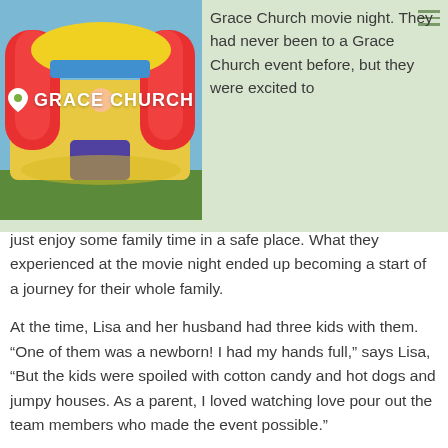[Figure (photo): Photo of a colorful bounce house/jumpy house with yellow and red inflatable arches, on a green-tinted background with Grace Church logo overlaid]
Grace Church movie night. They had never been to a Grace Church event before, but they were excited to just enjoy some family time in a safe place. What they experienced at the movie night ended up becoming a start of a journey for their whole family.
At the time, Lisa and her husband had three kids with them. “One of them was a newborn! I had my hands full,” says Lisa, “But the kids were spoiled with cotton candy and hot dogs and jumpy houses. As a parent, I loved watching love pour out the team members who made the event possible.”
They were so impressed that they came back for